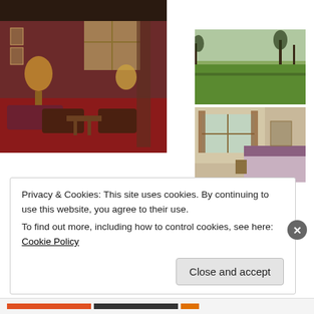what views!
[Figure (photo): Interior of a hotel lounge with red walls, red carpet, leather armchairs, wooden beams, lamps, and leaded windows]
[Figure (photo): Outdoor view of green fields with bare trees in winter]
[Figure (photo): Hotel bedroom with leaded windows, a double bed with purple bedding, and wooden furniture]
[Figure (photo): Outdoor view looking up at bare winter trees against a grey sky]
Privacy & Cookies: This site uses cookies. By continuing to use this website, you agree to their use.
To find out more, including how to control cookies, see here: Cookie Policy
Close and accept